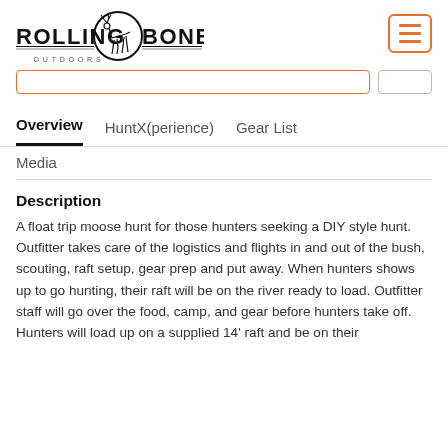[Figure (logo): Rolling Bones Outdoors logo with deer silhouette in circle, text ROLLING BONES with OUTDOORS below]
[Figure (illustration): Hamburger menu icon in orange bordered rounded rectangle]
[Figure (screenshot): Search input bar with orange border and a small button]
Overview
HuntX(perience)
Gear List
Media
Description
A float trip moose hunt for those hunters seeking a DIY style hunt. Outfitter takes care of the logistics and flights in and out of the bush, scouting, raft setup, gear prep and put away. When hunters shows up to go hunting, their raft will be on the river ready to load. Outfitter staff will go over the food, camp, and gear before hunters take off. Hunters will load up on a supplied 14' raft and be on their